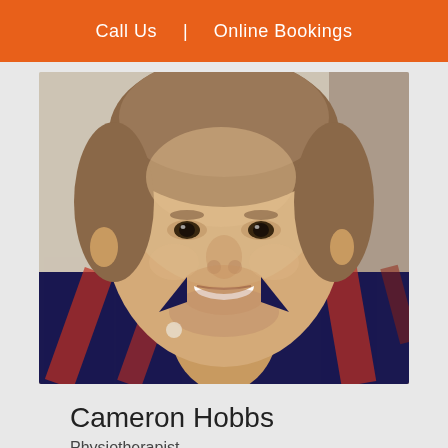Call Us  |  Online Bookings
[Figure (photo): Headshot photo of Cameron Hobbs, a young smiling man with short light brown hair and stubble, wearing a navy and red plaid flannel shirt, photographed against a blurred light background.]
Cameron Hobbs
Physiotherapist